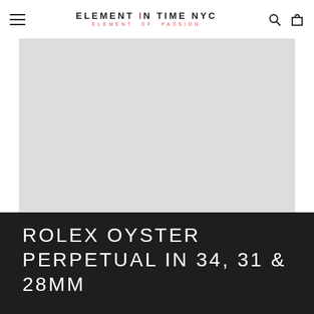ELEMENT iN TIME NYC — ELEMENT OF PASSION
[Figure (photo): Light gray product image placeholder area for a Rolex watch]
ROLEX OYSTER PERPETUAL IN 34, 31 & 28MM